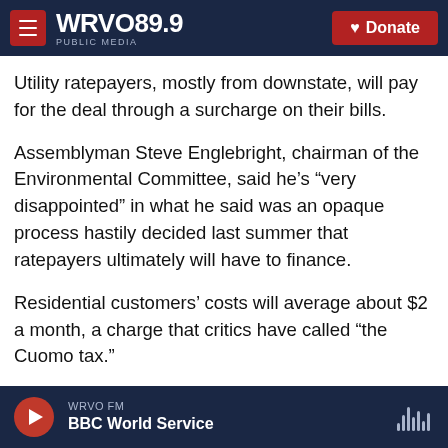WRVO PUBLIC MEDIA 89.9 | Donate
Utility ratepayers, mostly from downstate, will pay for the deal through a surcharge on their bills.
Assemblyman Steve Englebright, chairman of the Environmental Committee, said he's “very disappointed” in what he said was an opaque process hastily decided last summer that ratepayers ultimately will have to finance.
Residential customers’ costs will average about $2 a month, a charge that critics have called “the Cuomo tax.”
“This is a huge imposition upon the ratepayers of
WRVO FM | BBC World Service